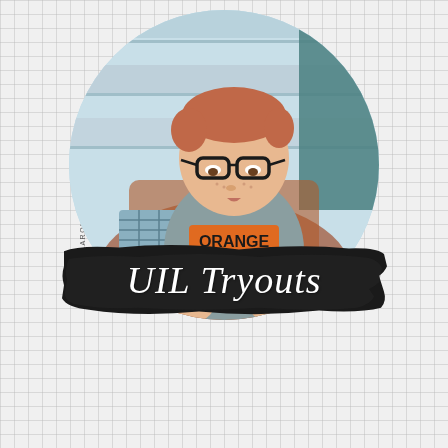[Figure (photo): A young boy with red hair and black glasses sitting in a wicker chair, wearing a gray t-shirt with 'ORANGE AND BLUE' printed on it in orange and dark letters, reading or looking down at something, displayed in a circular crop with a light blue wooden background.]
UIL Tryouts
WWW.HALLAROUNDTEXAS.COM